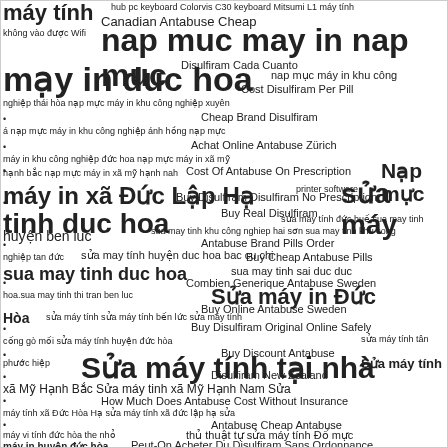[Figure (infographic): A word cloud containing Vietnamese and English text phrases related to printer services (nạp mực, sửa máy tính, máy in) and pharmaceutical terms (Disulfiram, Antabuse) in various font sizes, mixed together across the page.]